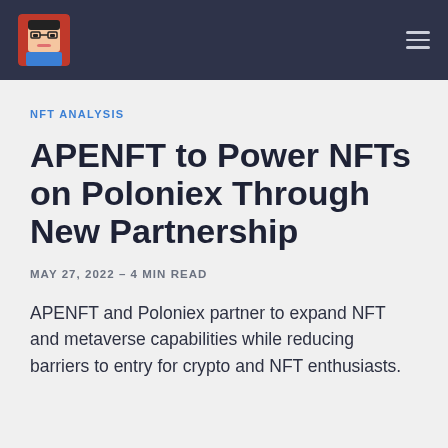NFT ANALYSIS
APENFT to Power NFTs on Poloniex Through New Partnership
MAY 27, 2022 - 4 MIN READ
APENFT and Poloniex partner to expand NFT and metaverse capabilities while reducing barriers to entry for crypto and NFT enthusiasts.